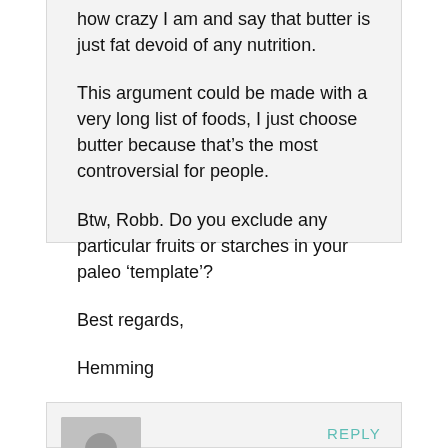how crazy I am and say that butter is just fat devoid of any nutrition.
This argument could be made with a very long list of foods, I just choose butter because that's the most controversial for people.
Btw, Robb. Do you exclude any particular fruits or starches in your paleo 'template'?
Best regards,
Hemming
MELISSA
REPLY